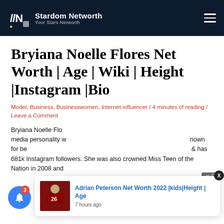Stardom Networth — Your Stars Networth
Bryiana Noelle Flores Net Worth | Age | Wiki | Height |Instagram |Bio
Model, Business, Businesswomen, Internet influencer / 4 minutes of reading / Leave a Comment
Bryiana Noelle Flores is an American model, entrepreneur and social media personality who has gained worldwide fame. She is best known for being the founder and president of the Iconic Beauty Initiative & has 681k Instagram followers. She was also crowned Miss Teen of the Nation in 2008 and
[Figure (photo): Photo of Adrian Peterson in a football uniform, number 26]
Adrian Peterson Net Worth 2022 |kids|Height | Age
7 hours ago